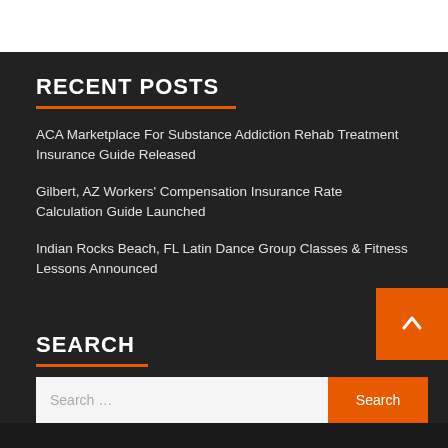RECENT POSTS
ACA Marketplace For Substance Addiction Rehab Treatment Insurance Guide Released
Gilbert, AZ Workers' Compensation Insurance Rate Calculation Guide Launched
Indian Rocks Beach, FL Latin Dance Group Classes & Fitness Lessons Announced
SEARCH